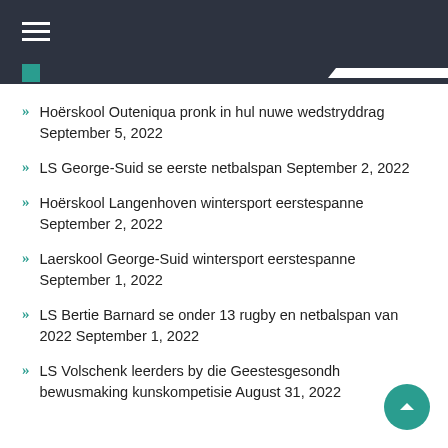Hoërskool Outeniqua pronk in hul nuwe wedstryddrag September 5, 2022
LS George-Suid se eerste netbalspan September 2, 2022
Hoërskool Langenhoven wintersport eerstespanne September 2, 2022
Laerskool George-Suid wintersport eerstespanne September 1, 2022
LS Bertie Barnard se onder 13 rugby en netbalspan van 2022 September 1, 2022
LS Volschenk leerders by die Geestesgesondheid bewusmaking kunskompetisie August 31, 2022